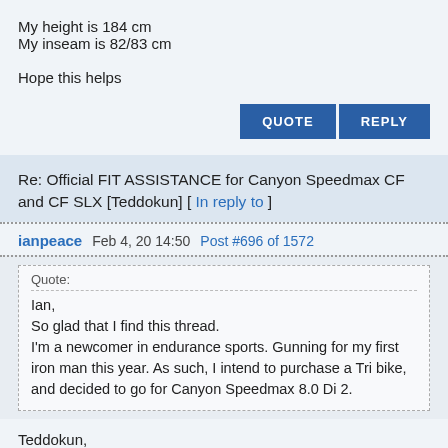My height is 184 cm
My inseam is 82/83 cm
Hope this helps
QUOTE  REPLY
Re: Official FIT ASSISTANCE for Canyon Speedmax CF and CF SLX [Teddokun] [ In reply to ]
ianpeace  Feb 4, 20 14:50  Post #696 of 1572
Quote:
Ian,
So glad that I find this thread.
I'm a newcomer in endurance sports. Gunning for my first iron man this year. As such, I intend to purchase a Tri bike, and decided to go for Canyon Speedmax 8.0 Di 2.
Teddokun,
You're gonna be great. Let's go together step by step